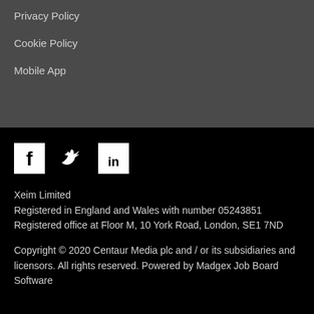Privacy Policy
Cookie Policy
Mobile App
[Figure (illustration): Social media icons: Facebook, Twitter, LinkedIn]
Xeim Limited
Registered in England and Wales with number 05243851
Registered office at Floor M, 10 York Road, London, SE1 7ND
Copyright © 2020 Centaur Media plc and / or its subsidiaries and licensors. All rights reserved. Powered by Madgex Job Board Software